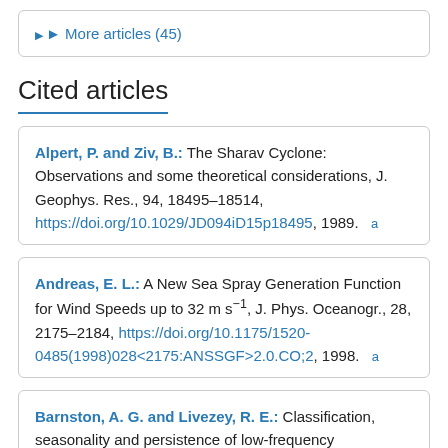▶ More articles (45)
Cited articles
Alpert, P. and Ziv, B.: The Sharav Cyclone: Observations and some theoretical considerations, J. Geophys. Res., 94, 18495–18514, https://doi.org/10.1029/JD094iD15p18495, 1989. a
Andreas, E. L.: A New Sea Spray Generation Function for Wind Speeds up to 32 m s⁻¹, J. Phys. Oceanogr., 28, 2175–2184, https://doi.org/10.1175/1520-0485(1998)028<2175:ANSSGF>2.0.CO;2, 1998. a
Barnston, A. G. and Livezey, R. E.: Classification, seasonality and persistence of low-frequency atmospheric circulation patterns, Mon. Weather Rev.